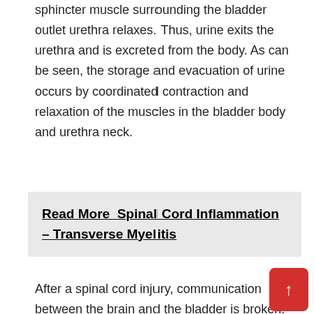sphincter muscle surrounding the bladder outlet urethra relaxes. Thus, urine exits the urethra and is excreted from the body. As can be seen, the storage and evacuation of urine occurs by coordinated contraction and relaxation of the muscles in the bladder body and urethra neck.
Read More  Spinal Cord Inflammation – Transverse Myelitis
After a spinal cord injury, communication between the brain and the bladder is broken. Because the brain cannot control it, both the detrusor and sphincter muscles can become overactive. An overactive de... can contract against an overactive sphincter even though there is little urine in the bladder. In this case